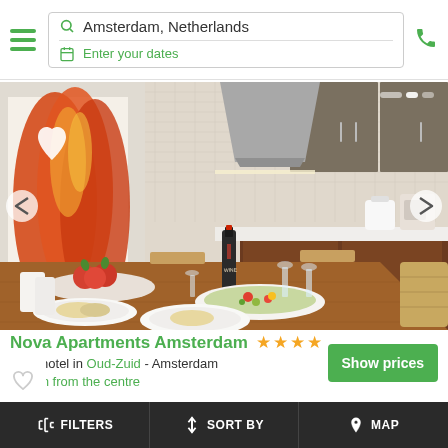Amsterdam, Netherlands | Enter your dates
[Figure (photo): Interior photo of Nova Apartments Amsterdam showing a modern kitchen and dining area with a set dining table, wine bottle, salad, fruits, and modern wood-finish kitchen cabinets with range hood. A large tulip artwork is on the wall.]
Nova Apartments Amsterdam ★★★★
Aparthotel in Oud-Zuid - Amsterdam
2.1 km from the centre
[Figure (screenshot): Partial view of next listing below]
FILTERS | SORT BY | MAP